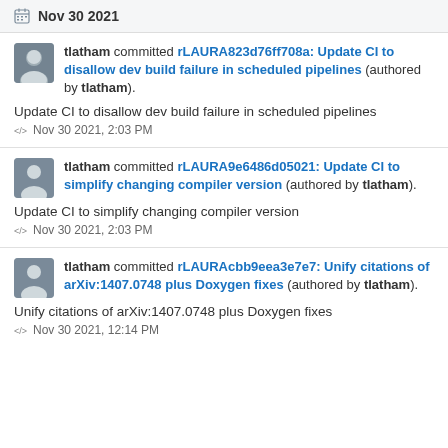Nov 30 2021
tlatham committed rLAURA823d76ff708a: Update CI to disallow dev build failure in scheduled pipelines (authored by tlatham).
Update CI to disallow dev build failure in scheduled pipelines
Nov 30 2021, 2:03 PM
tlatham committed rLAURA9e6486d05021: Update CI to simplify changing compiler version (authored by tlatham).
Update CI to simplify changing compiler version
Nov 30 2021, 2:03 PM
tlatham committed rLAURAcbb9eea3e7e7: Unify citations of arXiv:1407.0748 plus Doxygen fixes (authored by tlatham).
Unify citations of arXiv:1407.0748 plus Doxygen fixes
Nov 30 2021, 12:14 PM